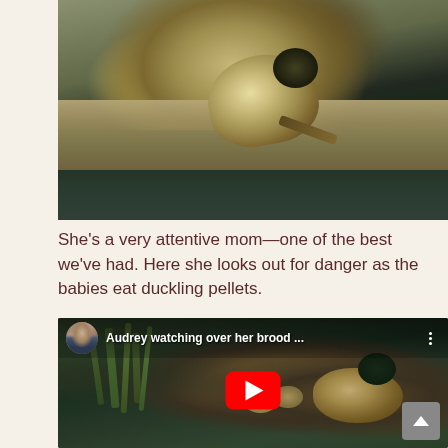[Figure (photo): A duckling sitting on a wooden plank/railing over a pond with green water reflections below]
She's a very attentive mom—one of the best we've had. Here she looks out for danger as the babies eat duckling pellets.
[Figure (screenshot): YouTube video thumbnail titled 'Audrey watching over her brood ...' showing a duck with ducklings near green reeds, with a red YouTube play button overlay and a scroll-to-top button in the corner]